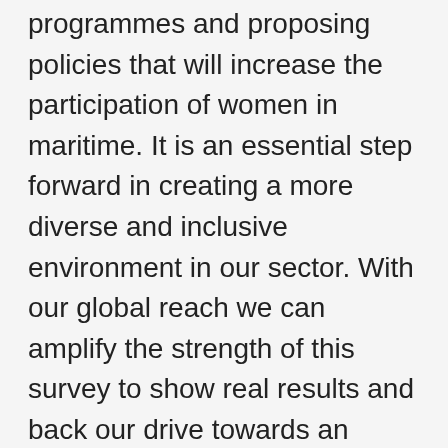programmes and proposing policies that will increase the participation of women in maritime. It is an essential step forward in creating a more diverse and inclusive environment in our sector. With our global reach we can amplify the strength of this survey to show real results and back our drive towards an inclusive maritime sector."
Other initiatives under the IMO-WISTA MoU include developing a database of female experts in a wide range of maritime subjects who are available for speaking engagements. This will contribute towards more diverse panels.